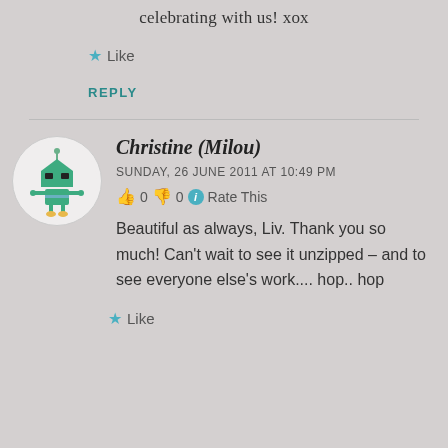celebrating with us! xox
★ Like
REPLY
[Figure (illustration): Circular avatar with a cartoon robot/alien character in teal/green color]
Christine (Milou)
SUNDAY, 26 JUNE 2011 AT 10:49 PM
👍 0 👎 0 ℹ Rate This
Beautiful as always, Liv. Thank you so much! Can't wait to see it unzipped – and to see everyone else's work.... hop.. hop
★ Like